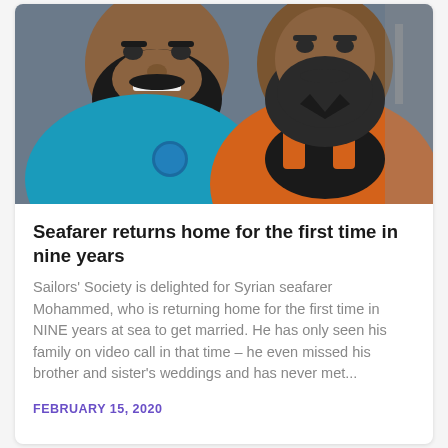[Figure (photo): Two men standing close together for a selfie-style photo. The man on the left wears a teal/blue polo shirt with a Sailors' Society logo badge. The man on the right wears an orange work/safety jumpsuit over a black shirt. Both have dark beards. The background shows an industrial or maritime setting.]
Seafarer returns home for the first time in nine years
Sailors' Society is delighted for Syrian seafarer Mohammed, who is returning home for the first time in NINE years at sea to get married. He has only seen his family on video call in that time – he even missed his brother and sister's weddings and has never met...
FEBRUARY 15, 2020